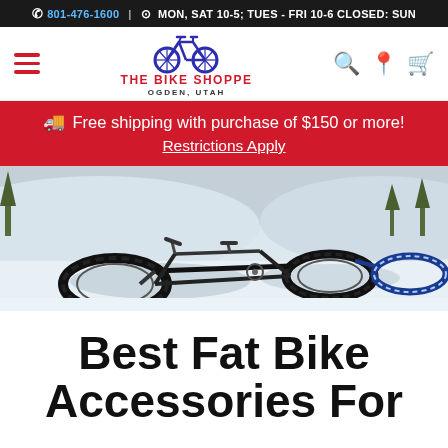📞 801-476-1600 | 🕐 MON, SAT 10-5; TUES - FRI 10-6 CLOSED: SUN
[Figure (logo): The Bike Shoppe logo with bicycle icon, red text 'THE BIKE SHOPPE' and subtitle 'OGDEN, UTAH', with hamburger menu icon on left and search/location/cart icons on right]
🚚 Free shipping with purchase of $150 or more! Restrictions Apply
[Figure (photo): Fat bikes lying in snow with a person in orange jacket crouching in the background, winter mountain biking scene]
Best Fat Bike Accessories For